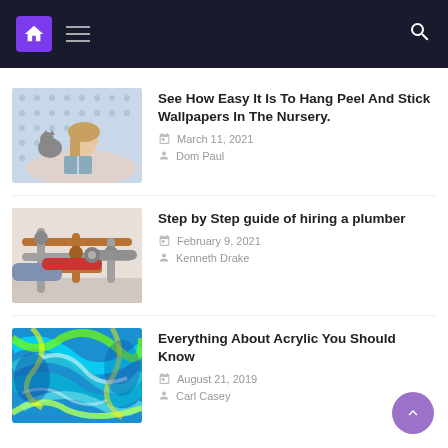Navigation bar with home icon, menu icon, and search icon
[Figure (photo): Young girl with a cat reading a book on a bed with patterned wallpaper]
See How Easy It Is To Hang Peel And Stick Wallpapers In The Nursery.
March 11, 2021
Dom Paul
[Figure (photo): Plumber working on copper pipes under a sink]
Step by Step guide of hiring a plumber
February 9, 2021
Kenneth Drake
[Figure (photo): Colorful acrylic paint swirls in blue, green, and yellow]
Everything About Acrylic You Should Know
August 21, 2019
Carl Casey